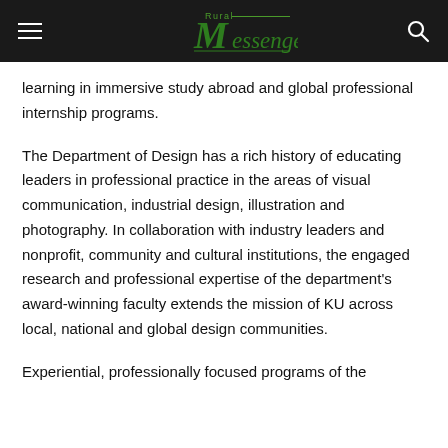Rural Messenger
learning in immersive study abroad and global professional internship programs.
The Department of Design has a rich history of educating leaders in professional practice in the areas of visual communication, industrial design, illustration and photography. In collaboration with industry leaders and nonprofit, community and cultural institutions, the engaged research and professional expertise of the department’s award-winning faculty extends the mission of KU across local, national and global design communities.
Experiential, professionally focused programs of the